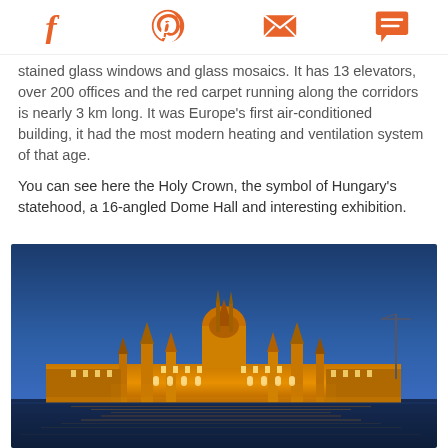[Social share icons: Facebook, Pinterest, Email, Chat]
stained glass windows and glass mosaics. It has 13 elevators, over 200 offices and the red carpet running along the corridors is nearly 3 km long. It was Europe's first air-conditioned building, it had the most modern heating and ventilation system of that age.
You can see here the Holy Crown, the symbol of Hungary's statehood, a 16-angled Dome Hall and interesting exhibition.
[Figure (photo): Nighttime photograph of the Hungarian Parliament Building illuminated in gold against a deep blue sky, reflected in the Danube River below.]